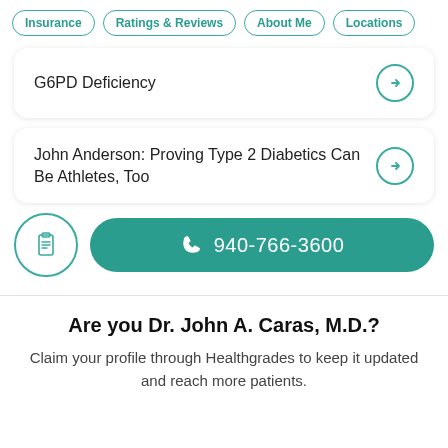Insurance | Ratings & Reviews | About Me | Locations
G6PD Deficiency
John Anderson: Proving Type 2 Diabetics Can Be Athletes, Too
940-766-3600
Are you Dr. John A. Caras, M.D.?
Claim your profile through Healthgrades to keep it updated and reach more patients.